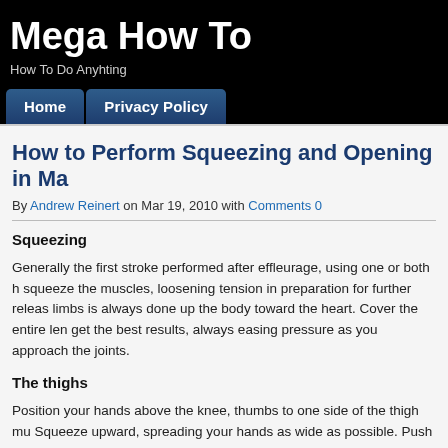Mega How To
How To Do Anyhting
Home  Privacy Policy
How to Perform Squeezing and Opening in Ma
By Andrew Reinert on Mar 19, 2010 with Comments 0
Squeezing
Generally the first stroke performed after effleurage, using one or both h squeeze the muscles, loosening tension in preparation for further releas limbs is always done up the body toward the heart. Cover the entire len get the best results, always easing pressure as you approach the joints.
The thighs
Position your hands above the knee, thumbs to one side of the thigh mu Squeeze upward, spreading your hands as wide as possible. Push up to